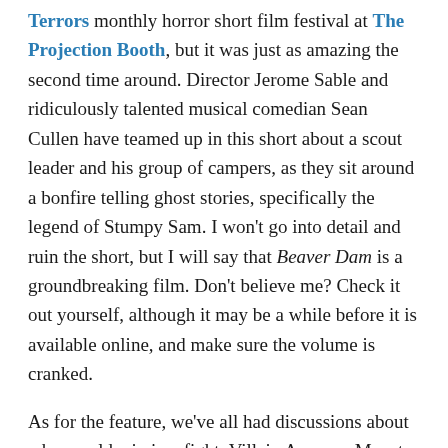Terrors monthly horror short film festival at The Projection Booth, but it was just as amazing the second time around. Director Jerome Sable and ridiculously talented musical comedian Sean Cullen have teamed up in this short about a scout leader and his group of campers, as they sit around a bonfire telling ghost stories, specifically the legend of Stumpy Sam. I won't go into detail and ruin the short, but I will say that Beaver Dam is a groundbreaking film. Don't believe me? Check it out yourself, although it may be a while before it is available online, and make sure the volume is cranked.
As for the feature, we've all had discussions about who would win in a fight, Villain A versus Monster B. Check out this Penny Arcade comic strip for a perfect example of what I am talking about. Earlier this year at the Toronto Underground Cinema we even learned from Robert Englund, Freddy Krueger himself, that Freddy vs. Jason happened specifically